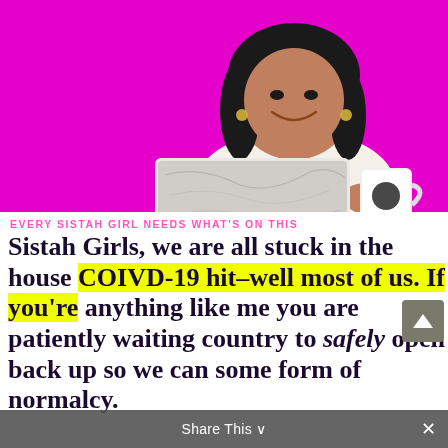[Figure (photo): A smiling Black woman sitting behind a marble-patterned laptop with a white mug beside her, against a bright magenta/pink background.]
EVERY SISTAH GIRL NEEDS WHAT'S ON THIS
Sistah Girls, we are all stuck in the house COIVD-19 hit–well most of us. If you're anything like me you are patiently waiting country to safely open back up so we can some form of normalcy.
Share This ×